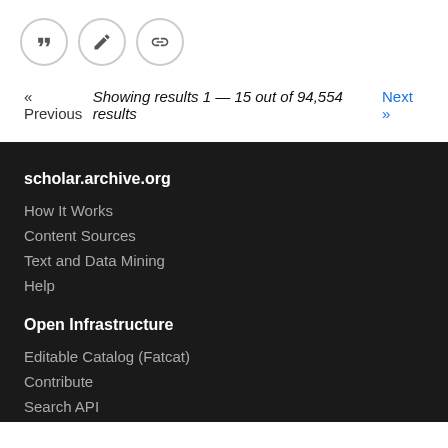[Figure (other): Three circular icon buttons: quote, edit, and link icons]
« Previous   Showing results 1 — 15 out of 94,554 results   Next »
scholar.archive.org
How It Works
Content Sources
Text and Data Mining
Help
Open Infrastructure
Editable Catalog (Fatcat)
Contribute
Search API